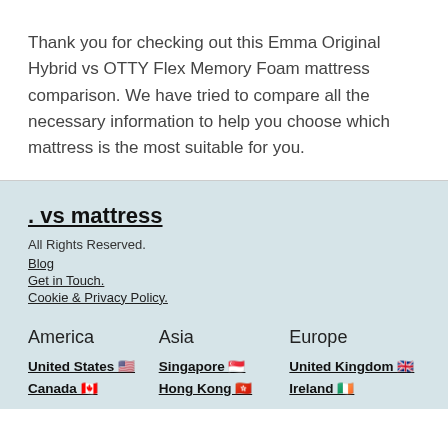Thank you for checking out this Emma Original Hybrid vs OTTY Flex Memory Foam mattress comparison. We have tried to compare all the necessary information to help you choose which mattress is the most suitable for you.
. vs mattress
All Rights Reserved.
Blog
Get in Touch.
Cookie & Privacy Policy.
America | Asia | Europe
United States | Singapore | United Kingdom
Canada | Hong Kong | Ireland